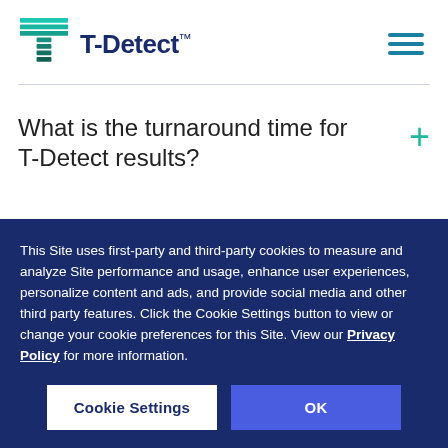[Figure (logo): T-Detect logo with teal striped T icon and navy blue T-Detect™ wordmark]
What is the turnaround time for T-Detect results?
This Site uses first-party and third-party cookies to measure and analyze Site performance and usage, enhance user experiences, personalize content and ads, and provide social media and other third party features. Click the Cookie Settings button to view or change your cookie preferences for this Site. View our Privacy Policy for more information.